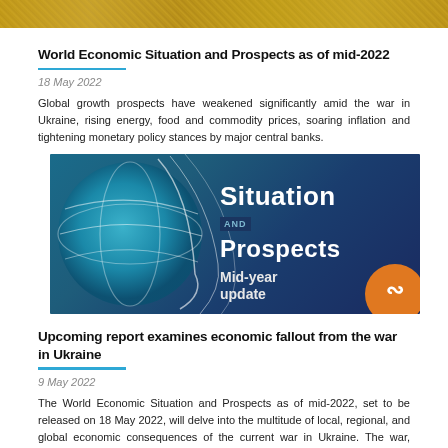[Figure (photo): Top banner image showing golden wheat/grain field texture]
World Economic Situation and Prospects as of mid-2022
18 May 2022
Global growth prospects have weakened significantly amid the war in Ukraine, rising energy, food and commodity prices, soaring inflation and tightening monetary policy stances by major central banks.
[Figure (illustration): WESP mid-year update banner with globe graphic on blue background. Text reads: Situation and Prospects Mid-year update]
Upcoming report examines economic fallout from the war in Ukraine
9 May 2022
The World Economic Situation and Prospects as of mid-2022, set to be released on 18 May 2022, will delve into the multitude of local, regional, and global economic consequences of the current war in Ukraine. The war, which erupted in February 2022, has …